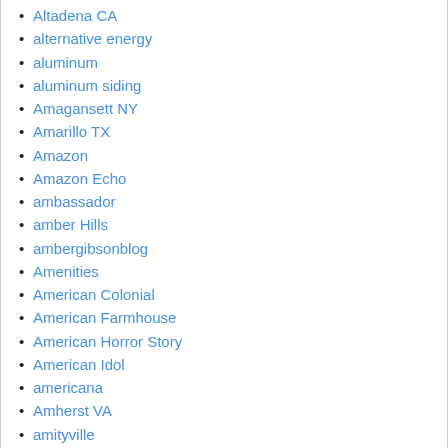Altadena CA
alternative energy
aluminum
aluminum siding
Amagansett NY
Amarillo TX
Amazon
Amazon Echo
ambassador
amber Hills
ambergibsonblog
Amenities
American Colonial
American Farmhouse
American Horror Story
American Idol
americana
Amherst VA
amityville